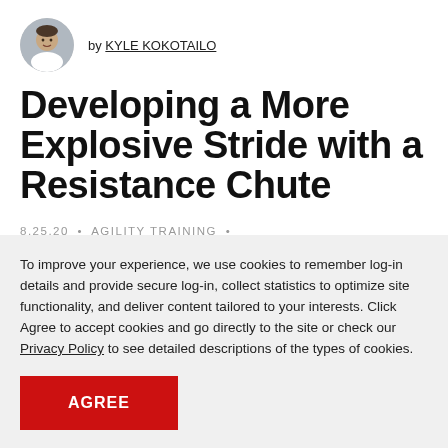[Figure (photo): Circular avatar photo of Kyle Kokotailo, a young man smiling]
by KYLE KOKOTAILO
Developing a More Explosive Stride with a Resistance Chute
8.25.20 • AGILITY TRAINING • OFF ICE SPEED TRAINING PROGRAM
To improve your experience, we use cookies to remember log-in details and provide secure log-in, collect statistics to optimize site functionality, and deliver content tailored to your interests. Click Agree to accept cookies and go directly to the site or check our Privacy Policy to see detailed descriptions of the types of cookies.
AGREE